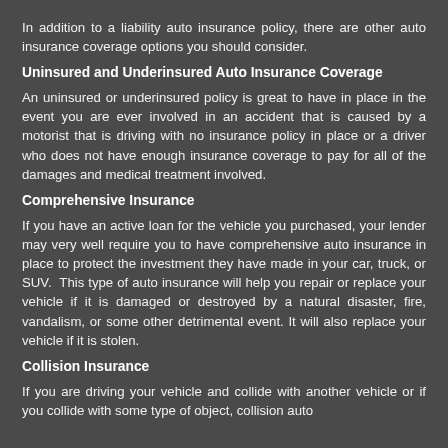In addition to a liability auto insurance policy, there are other auto insurance coverage options you should consider.
Uninsured and Underinsured Auto Insurance Coverage
An uninsured or underinsured policy is great to have in place in the event you are ever involved in an accident that is caused by a motorist that is driving with no insurance policy in place or a driver who does not have enough insurance coverage to pay for all of the damages and medical treatment involved.
Comprehensive Insurance
If you have an active loan for the vehicle you purchased, your lender may very well require you to have comprehensive auto insurance in place to protect the investment they have made in your car, truck, or SUV.  This type of auto insurance will help you repair or replace your vehicle if it is damaged or destroyed by a natural disaster, fire, vandalism, or some other detrimental event. It will also replace your vehicle if it is stolen.
Collision Insurance
If you are driving your vehicle and collide with another vehicle or if you collide with some type of object, collision auto insurance coverage will help pay for damages that...